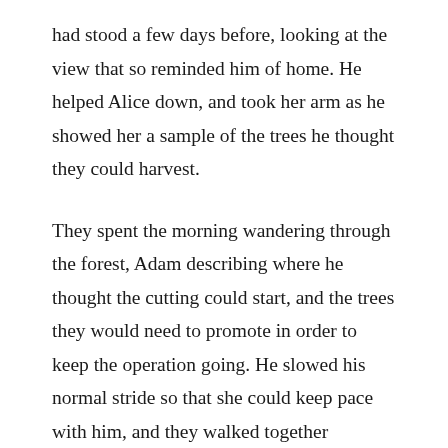had stood a few days before, looking at the view that so reminded him of home. He helped Alice down, and took her arm as he showed her a sample of the trees he thought they could harvest.
They spent the morning wandering through the forest, Adam describing where he thought the cutting could start, and the trees they would need to promote in order to keep the operation going. He slowed his normal stride so that she could keep pace with him, and they walked together amongst the trees in the dappled sunshine, the air heavy with the smell of the pines, discussing the possibilities. Adam was pleased with the way Alice was taking note of the things he told her. If she decided to go ahead, he knew she would be able to maintain a good business.